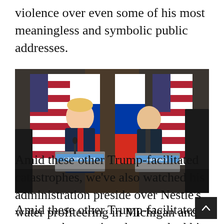violence over even some of his most meaningless and symbolic public addresses.
[Figure (photo): Trump and Putin at podiums labeled 'HELSINKI 2018' and 'HELSINKI' during a joint press conference, with American and Russian flags in the background.]
Amid these other Trump-facilitated catastrophes, we've also watched his administration preside over Nestle's water profiteering in Michigan and California during